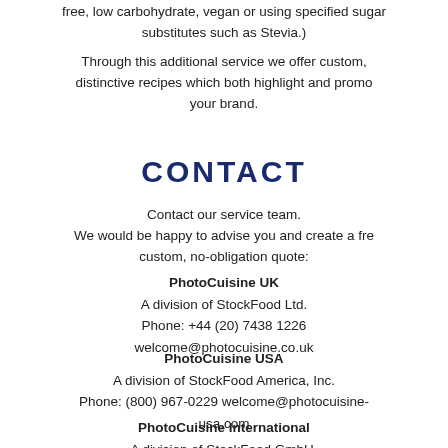free, low carbohydrate, vegan or using specified sugar substitutes such as Stevia.)
Through this additional service we offer custom, distinctive recipes which both highlight and promote your brand.
CONTACT
Contact our service team.
We would be happy to advise you and create a free custom, no-obligation quote:
PhotoCuisine UK
A division of StockFood Ltd.
Phone: +44 (20) 7438 1226
welcome@photocuisine.co.uk
PhotoCuisine USA
A division of StockFood America, Inc.
Phone: (800) 967-0229 welcome@photocuisine-usa.com
PhotoCuisine International
A division of StockFood GmbH.
Tel. +49 (89) 747 202 0